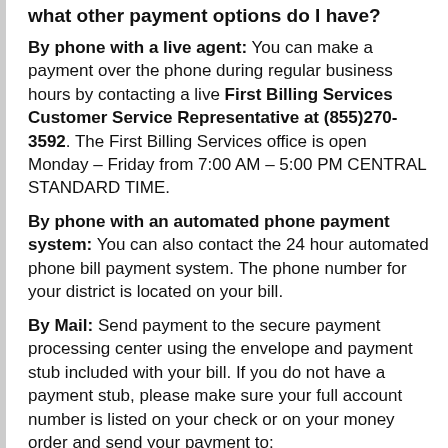what other payment options do I have?
By phone with a live agent: You can make a payment over the phone during regular business hours by contacting a live First Billing Services Customer Service Representative at (855)270-3592. The First Billing Services office is open Monday – Friday from 7:00 AM – 5:00 PM CENTRAL STANDARD TIME.
By phone with an automated phone payment system: You can also contact the 24 hour automated phone bill payment system. The phone number for your district is located on your bill.
By Mail: Send payment to the secure payment processing center using the envelope and payment stub included with your bill. If you do not have a payment stub, please make sure your full account number is listed on your check or on your money order and send your payment to: